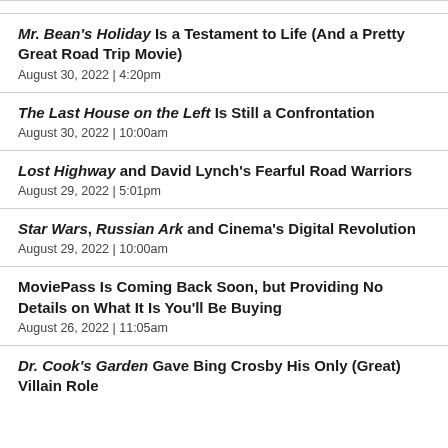Mr. Bean's Holiday Is a Testament to Life (And a Pretty Great Road Trip Movie)
August 30, 2022  |  4:20pm
The Last House on the Left Is Still a Confrontation
August 30, 2022  |  10:00am
Lost Highway and David Lynch's Fearful Road Warriors
August 29, 2022  |  5:01pm
Star Wars, Russian Ark and Cinema's Digital Revolution
August 29, 2022  |  10:00am
MoviePass Is Coming Back Soon, but Providing No Details on What It Is You'll Be Buying
August 26, 2022  |  11:05am
Dr. Cook's Garden Gave Bing Crosby His Only (Great) Villain Role